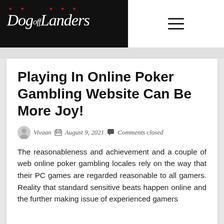DogoffLanders
Playing In Online Poker Gambling Website Can Be More Joy!
Vivaan   August 9, 2021   Comments closed
The reasonableness and achievement and a couple of web online poker gambling locales rely on the way that their PC games are regarded reasonable to all gamers. Reality that standard sensitive beats happen online and the further making issue of experienced gamers and the further making issue of experienced gamers